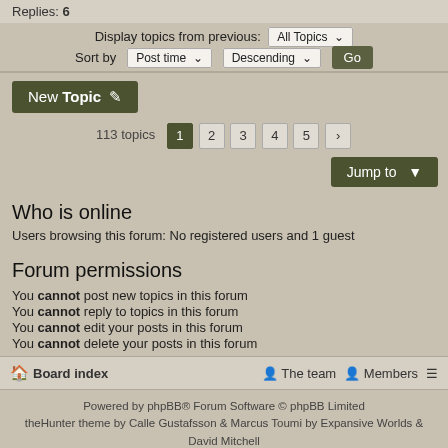Replies: 6
Display topics from previous: All Topics
Sort by Post time Descending Go
New Topic
113 topics  1 2 3 4 5 >
Jump to
Who is online
Users browsing this forum: No registered users and 1 guest
Forum permissions
You cannot post new topics in this forum
You cannot reply to topics in this forum
You cannot edit your posts in this forum
You cannot delete your posts in this forum
Board index   The team   Members
Powered by phpBB® Forum Software © phpBB Limited
theHunter theme by Calle Gustafsson & Marcus Toumi by Expansive Worlds & David Mitchell
Based on Simplicity by Arty